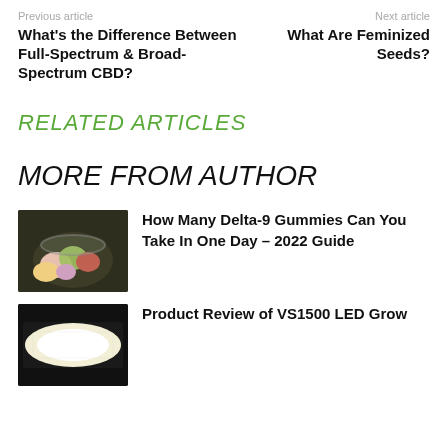Previous article    Next article
What's the Difference Between Full-Spectrum & Broad-Spectrum CBD?
What Are Feminized Seeds?
RELATED ARTICLES
MORE FROM AUTHOR
[Figure (photo): Jar containing colorful cannabis gummies and buds]
How Many Delta-9 Gummies Can You Take In One Day – 2022 Guide
[Figure (photo): VS1500 LED Grow light panel emitting bright white light]
Product Review of VS1500 LED Grow